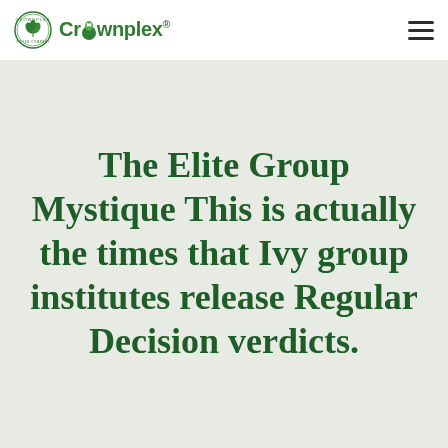Crownplex
The Elite Group Mystique This is actually the times that Ivy group institutes release Regular Decision verdicts.